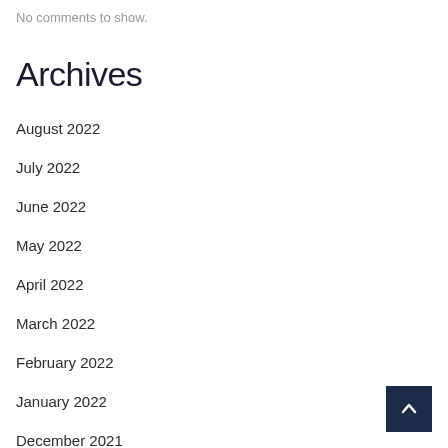No comments to show.
Archives
August 2022
July 2022
June 2022
May 2022
April 2022
March 2022
February 2022
January 2022
December 2021
November 2021